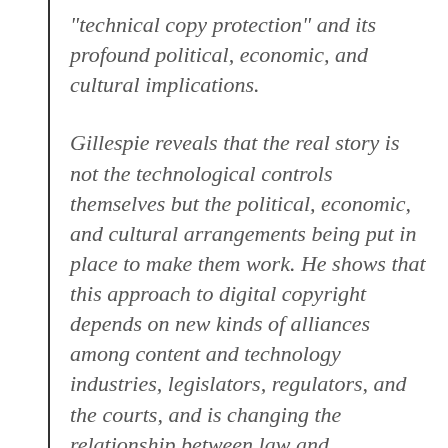"technical copy protection" and its profound political, economic, and cultural implications.
Gillespie reveals that the real story is not the technological controls themselves but the political, economic, and cultural arrangements being put in place to make them work. He shows that this approach to digital copyright depends on new kinds of alliances among content and technology industries, legislators, regulators, and the courts, and is changing the relationship between law and technology in the process. The film and